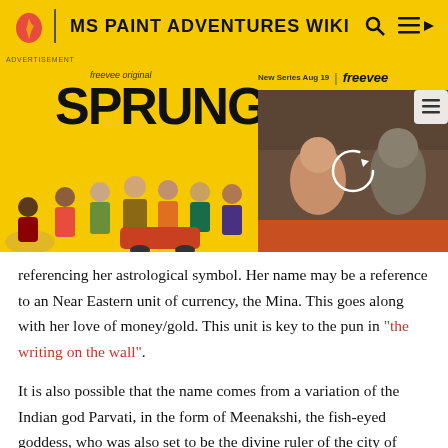MS PAINT ADVENTURES WIKI
[Figure (photo): Advertisement banner for 'Sprung' on Freevee. Yellow background with cast of characters and a video thumbnail on the right showing two people in a car.]
referencing her astrological symbol. Her name may be a reference to an Near Eastern unit of currency, the Mina. This goes along with her love of money/gold. This unit is key to the pun in "the writing on the wall".
It is also possible that the name comes from a variation of the Indian god Parvati, in the form of Meenakshi, the fish-eyed goddess, who was also set to be the divine ruler of the city of Madurai, going along with Meenah's royal status.